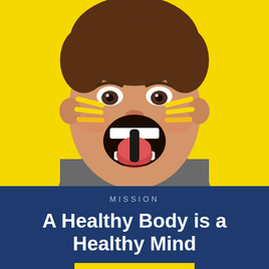[Figure (photo): A young boy with face paint (yellow and black stripes on cheeks and chin) against a bright yellow background, mouth wide open as if shouting or cheering.]
MISSION
A Healthy Body is a Healthy Mind